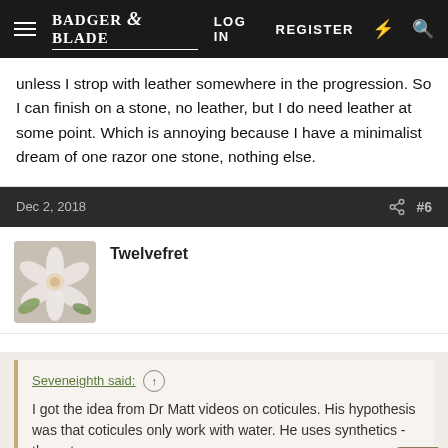Badger & Blade — LOG IN  REGISTER
unless I strop with leather somewhere in the progression. So I can finish on a stone, no leather, but I do need leather at some point. Which is annoying because I have a minimalist dream of one razor one stone, nothing else.
Dec 2, 2018  #6
Twelvefret
Seveneighth said:
I got the idea from Dr Matt videos on coticules. His hypothesis was that coticules only work with water. He uses synthetics - then strops